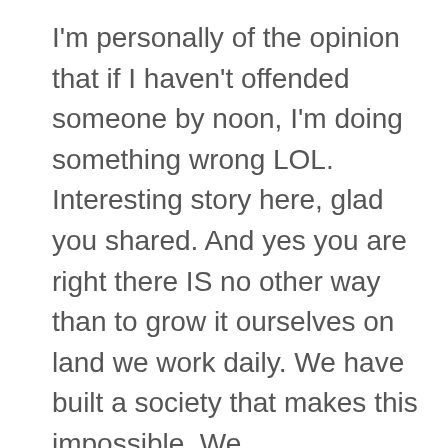I'm personally of the opinion that if I haven't offended someone by noon, I'm doing something wrong LOL. Interesting story here, glad you shared. And yes you are right there IS no other way than to grow it ourselves on land we work daily. We have built a society that makes this impossible. We